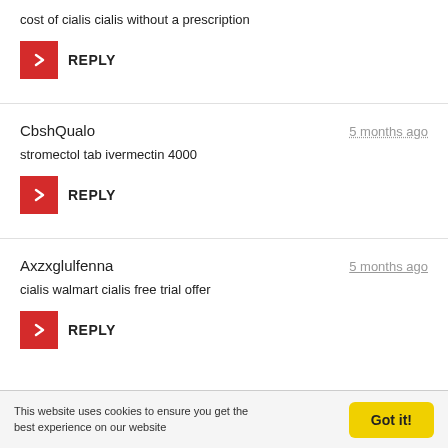cost of cialis cialis without a prescription
REPLY
CbshQualo — 5 months ago
stromectol tab ivermectin 4000
REPLY
Axzxglulfenna — 5 months ago
cialis walmart cialis free trial offer
REPLY
This website uses cookies to ensure you get the best experience on our website